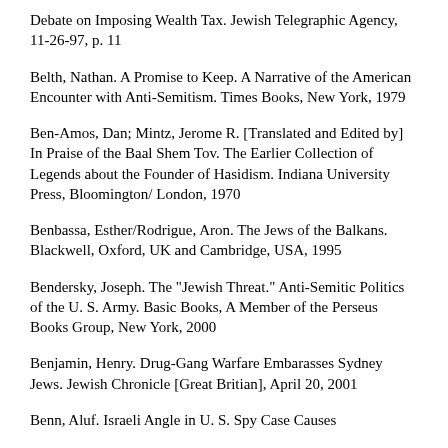Debate on Imposing Wealth Tax. Jewish Telegraphic Agency, 11-26-97, p. 11
Belth, Nathan. A Promise to Keep. A Narrative of the American Encounter with Anti-Semitism. Times Books, New York, 1979
Ben-Amos, Dan; Mintz, Jerome R. [Translated and Edited by] In Praise of the Baal Shem Tov. The Earlier Collection of Legends about the Founder of Hasidism. Indiana University Press, Bloomington/ London, 1970
Benbassa, Esther/Rodrigue, Aron. The Jews of the Balkans. Blackwell, Oxford, UK and Cambridge, USA, 1995
Bendersky, Joseph. The "Jewish Threat." Anti-Semitic Politics of the U. S. Army. Basic Books, A Member of the Perseus Books Group, New York, 2000
Benjamin, Henry. Drug-Gang Warfare Embarasses Sydney Jews. Jewish Chronicle [Great Britian], April 20, 2001
Benn, Aluf. Israeli Angle in U. S. Spy Case Causes